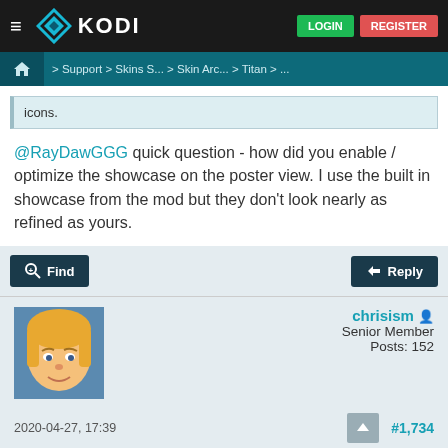KODI — LOGIN   REGISTER
Home > Support > Skins S... > Skin Arc... > Titan > ...
icons.
@RayDawGGG quick question - how did you enable / optimize the showcase on the poster view. I use the built in showcase from the mod but they don't look nearly as refined as yours.
Find   Reply
chrisism
Senior Member
Posts: 152
2020-04-27, 17:39   #1,734